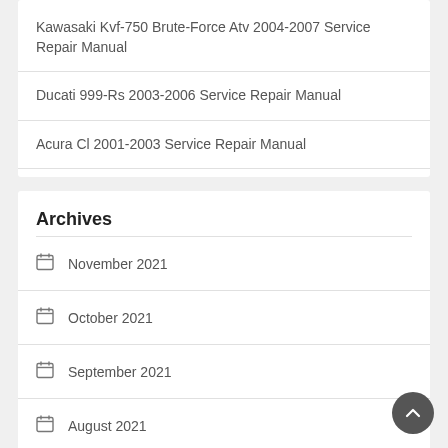Kawasaki Kvf-750 Brute-Force Atv 2004-2007 Service Repair Manual
Ducati 999-Rs 2003-2006 Service Repair Manual
Acura Cl 2001-2003 Service Repair Manual
Archives
November 2021
October 2021
September 2021
August 2021
July 2021